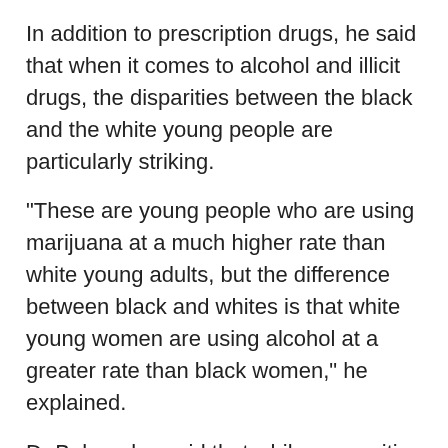In addition to prescription drugs, he said that when it comes to alcohol and illicit drugs, the disparities between the black and the white young people are particularly striking.
“These are young people who are using marijuana at a much higher rate than white young adults, but the difference between black and whites is that white young women are using alcohol at a greater rate than black women,” he explained.
Dr Baker also said that while some cities have begun to try to tackle the issue of addiction, the situation for young black people is worse than in many other parts of the country.
“The incarceration rate for black males is 1,300 days.
For white males, it is 1.8 times,” he noted.”